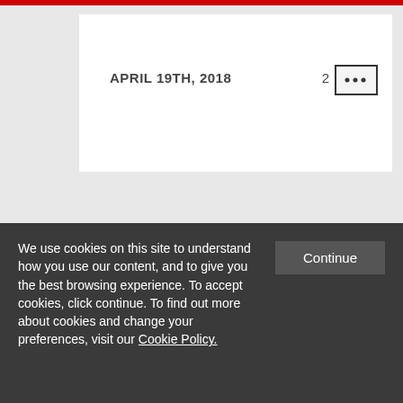APRIL 19TH, 2018   2  [...]
[Figure (other): Social media icons: Twitter, Facebook, LinkedIn, RSS feed]
We use cookies on this site to understand how you use our content, and to give you the best browsing experience. To accept cookies, click continue. To find out more about cookies and change your preferences, visit our Cookie Policy.